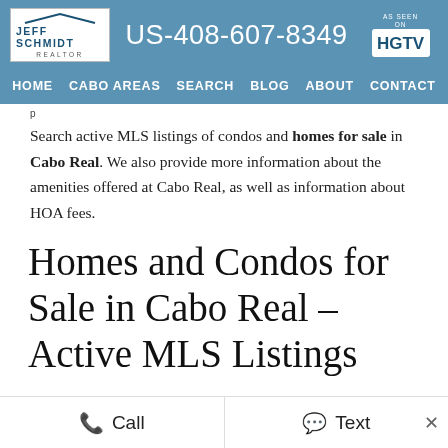Jeff Schmidt Realtor | US-408-607-8349 | AS SEEN ON HGTV
HOME  CABO AREAS  SEARCH  BLOG  ABOUT  CONTACT
p
Search active MLS listings of condos and homes for sale in Cabo Real. We also provide more information about the amenities offered at Cabo Real, as well as information about HOA fees.
Homes and Condos for Sale in Cabo Real – Active MLS Listings
Call   Text